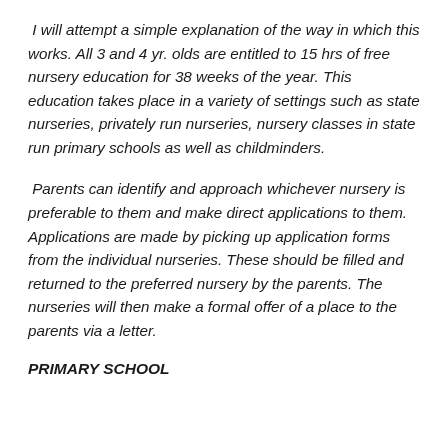I will attempt a simple explanation of the way in which this works. All 3 and 4 yr. olds are entitled to 15 hrs of free nursery education for 38 weeks of the year. This education takes place in a variety of settings such as state nurseries, privately run nurseries, nursery classes in state run primary schools as well as childminders.
Parents can identify and approach whichever nursery is preferable to them and make direct applications to them. Applications are made by picking up application forms from the individual nurseries. These should be filled and returned to the preferred nursery by the parents. The nurseries will then make a formal offer of a place to the parents via a letter.
PRIMARY SCHOOL